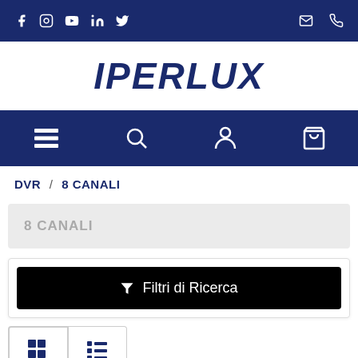IPERLUX website header with social icons (Facebook, Instagram, YouTube, LinkedIn, Twitter) and contact icons (email, phone)
[Figure (logo): IPERLUX logo in bold italic dark blue text]
Navigation bar with menu, search, account, and cart icons
DVR / 8 CANALI
8 CANALI
Filtri di Ricerca
[Figure (other): View toggle buttons: grid view (active) and list view]